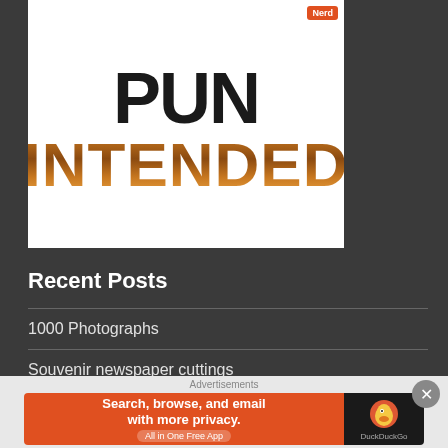[Figure (logo): Pun Intended logo with 'PUN' in large black text and 'INTENDED' in large brown/bronze metallic text on white background, with a small 'Nerd' badge in top right corner]
Recent Posts
1000 Photographs
Souvenir newspaper cuttings
Souvenir newspapers
A tiny time capsule
[Figure (screenshot): DuckDuckGo advertisement banner: 'Search, browse, and email with more privacy. All in One Free App' on orange background with DuckDuckGo logo on dark background]